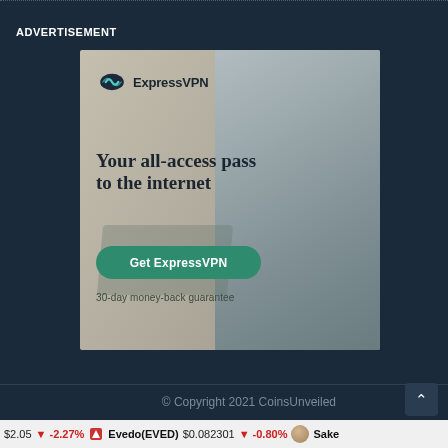ADVERTISEMENT
[Figure (illustration): ExpressVPN advertisement banner showing a woman sitting with a laptop, with text 'Your all-access pass to the internet', a green 'Get ExpressVPN' button, and '30-day money-back guarantee']
© Copyright 2021 CoinsUnveiled
$2.05  ↓ -2.27%  Evedo(EVED)  $0.082301  ↓ -0.80%  Sake